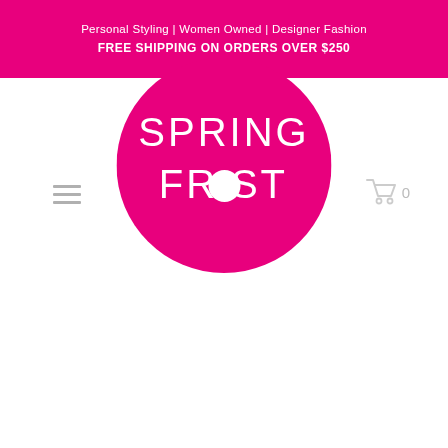Personal Styling | Women Owned | Designer Fashion
FREE SHIPPING ON ORDERS OVER $250
[Figure (logo): Spring Frost brand logo — hot pink circle with white text reading SPRING FROST, with the O in FROST replaced by a white filled circle]
[Figure (other): Hamburger menu icon — three horizontal gray lines stacked]
[Figure (other): Shopping cart icon with count 0]